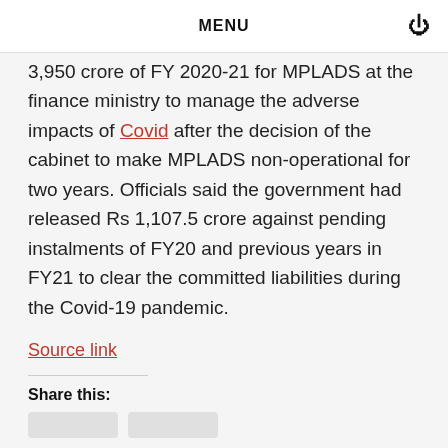MENU
3,950 crore of FY 2020-21 for MPLADS at the finance ministry to manage the adverse impacts of Covid after the decision of the cabinet to make MPLADS non-operational for two years. Officials said the government had released Rs 1,107.5 crore against pending instalments of FY20 and previous years in FY21 to clear the committed liabilities during the Covid-19 pandemic.
Source link
Share this: